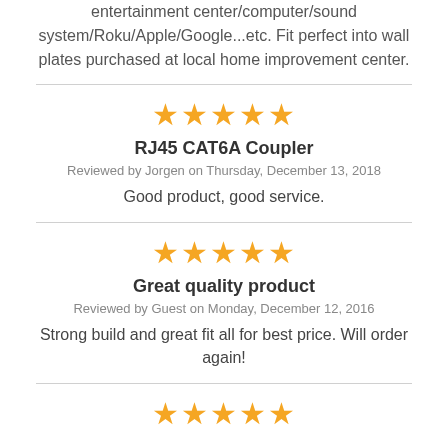entertainment center/computer/sound system/Roku/Apple/Google...etc. Fit perfect into wall plates purchased at local home improvement center.
★★★★★
RJ45 CAT6A Coupler
Reviewed by Jorgen on Thursday, December 13, 2018
Good product, good service.
★★★★★
Great quality product
Reviewed by Guest on Monday, December 12, 2016
Strong build and great fit all for best price. Will order again!
★★★★★